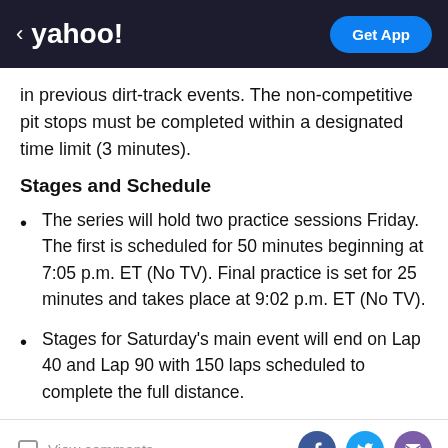yahoo! | Get App
in previous dirt-track events. The non-competitive pit stops must be completed within a designated time limit (3 minutes).
Stages and Schedule
The series will hold two practice sessions Friday. The first is scheduled for 50 minutes beginning at 7:05 p.m. ET (No TV). Final practice is set for 25 minutes and takes place at 9:02 p.m. ET (No TV).
Stages for Saturday's main event will end on Lap 40 and Lap 90 with 150 laps scheduled to complete the full distance.
View comments